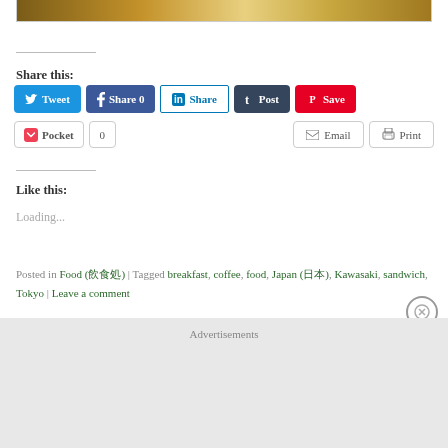[Figure (photo): Partial photo of a wooden table surface, cropped at top of the frame]
Share this:
[Figure (infographic): Social share buttons: Tweet, Share 0 (Facebook), Share (LinkedIn), Post (Tumblr), Save (Pinterest), Pocket, 0, Email, Print]
Like this:
Loading...
Posted in Food (飲食処) | Tagged breakfast, coffee, food, Japan (日本), Kawasaki, sandwich, Tokyo | Leave a comment
APRIL 26, 2014
Advertisements